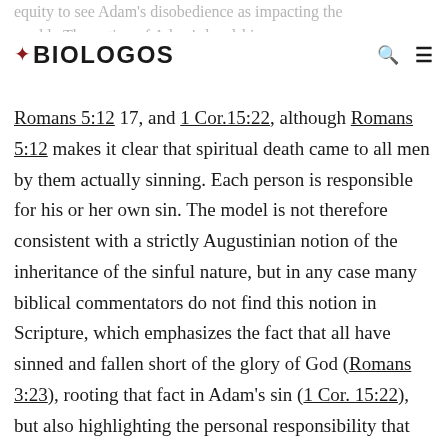BioLogos
equity to see Adam's disobedience as impacting the world. The notion of Adam's headship is of course perceived through passages such as Romans 5:12 17, and 1 Cor.15:22, although Romans 5:12 makes it clear that spiritual death came to all men by them actually sinning. Each person is responsible for his or her own sin. The model is not therefore consistent with a strictly Augustinian notion of the inheritance of the sinful nature, but in any case many biblical commentators do not find this notion in Scripture, which emphasizes the fact that all have sinned and fallen short of the glory of God (Romans 3:23), rooting that fact in Adam's sin (1 Cor. 15:22), but also highlighting the personal responsibility that each person has for their own sin (Deut.24:16; Jer.31:30; Rom. 5:12).